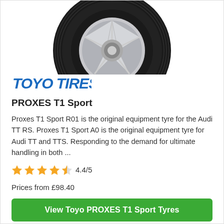[Figure (photo): Toyo PROXES T1 Sport tyre product photo showing a black tyre with chrome alloy wheel, viewed from a three-quarter angle against a white background]
[Figure (logo): Toyo Tires logo in bold blue italic text]
PROXES T1 Sport
Proxes T1 Sport R01 is the original equipment tyre for the Audi TT RS. Proxes T1 Sport A0 is the original equipment tyre for Audi TT and TTS. Responding to the demand for ultimate handling in both ...
4.4/5
Prices from £98.40
View Toyo PROXES T1 Sport Tyres